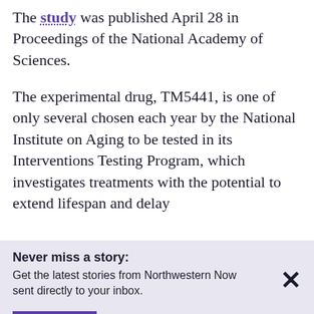The study was published April 28 in Proceedings of the National Academy of Sciences.
The experimental drug, TM5441, is one of only several chosen each year by the National Institute on Aging to be tested in its Interventions Testing Program, which investigates treatments with the potential to extend lifespan and delay disease in aging.
Never miss a story: Get the latest stories from Northwestern Now sent directly to your inbox.